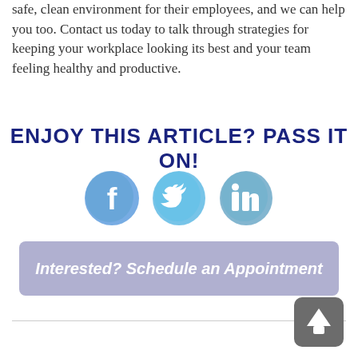safe, clean environment for their employees, and we can help you too. Contact us today to talk through strategies for keeping your workplace looking its best and your team feeling healthy and productive.
ENJOY THIS ARTICLE? PASS IT ON!
[Figure (illustration): Three social media icons: Facebook (f), Twitter (bird), LinkedIn (in), rendered in blue watercolor style]
[Figure (other): Light purple/lavender button with italic bold white text: Interested? Schedule an Appointment]
[Figure (other): Dark gray rounded square back-to-top button with white upward arrow icon]